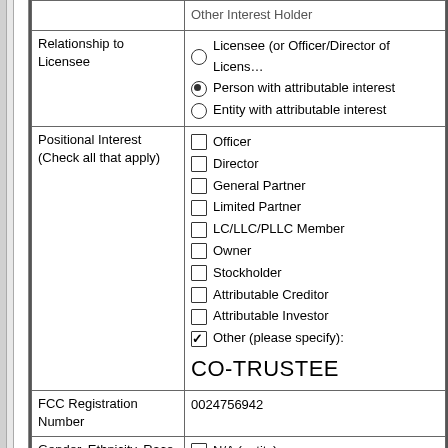| Field | Value |
| --- | --- |
|  | Other Interest Holder |
| Relationship to Licensee | Licensee (or Officer/Director of Licensee) [radio unchecked]
Person with attributable interest [radio selected]
Entity with attributable interest [radio unchecked] |
| Positional Interest (Check all that apply) | Officer [unchecked]
Director [unchecked]
General Partner [unchecked]
Limited Partner [unchecked]
LC/LLC/PLLC Member [unchecked]
Owner [unchecked]
Stockholder [unchecked]
Attributable Creditor [unchecked]
Attributable Investor [unchecked]
Other (please specify): [checked] CO-TRUSTEE |
| FCC Registration Number | 0024756942 |
| Gender, Ethnicity, Race and Citizenship Information (Natural Persons) | N/A (entity) [unchecked]
Gender
Male [selected] Female [unchecked]
Ethnicity |